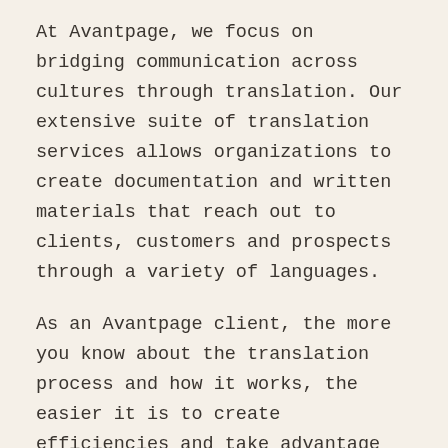At Avantpage, we focus on bridging communication across cultures through translation. Our extensive suite of translation services allows organizations to create documentation and written materials that reach out to clients, customers and prospects through a variety of languages.
As an Avantpage client, the more you know about the translation process and how it works, the easier it is to create efficiencies and take advantage of savings opportunities. And the more you work with us, the more we learn about your organization, your clients and your translation preferences. This enables us to make educated recommendations and create a customized translation program for your organization.
We've put together 5 smart strategies for lowering translation costs. These ideas will help you work